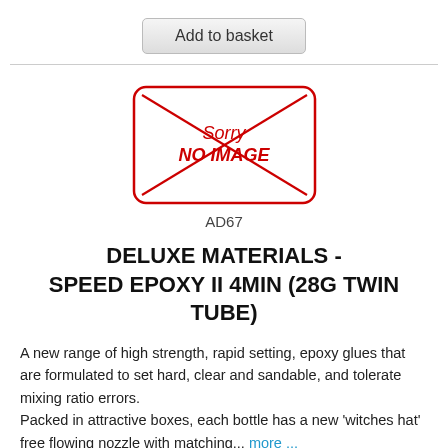[Figure (other): Add to basket button — a rounded rectangle button with gradient gray background labeled 'Add to basket']
[Figure (other): No image placeholder: a rounded red-bordered rectangle with two diagonal red lines crossing it and text 'Sorry NO IMAGE' in red]
AD67
DELUXE MATERIALS - SPEED EPOXY II 4MIN (28G TWIN TUBE)
A new range of high strength, rapid setting, epoxy glues that are formulated to set hard, clear and sandable, and tolerate mixing ratio errors.
Packed in attractive boxes, each bottle has a new ‘witches hat’ free flowing nozzle with matching... more ...
more info on Speed Epoxy II 4min (28g Twin Tube)...
This item is not kept in stock, but is ordered in